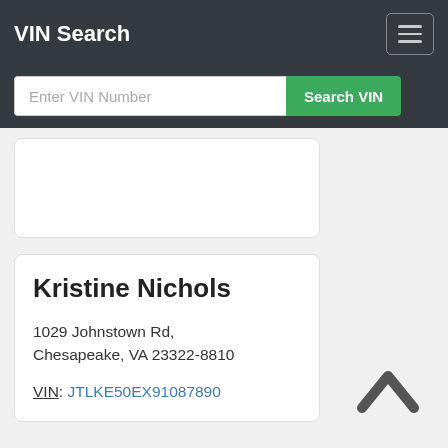VIN Search
Enter VIN Number
Search VIN
Kristine Nichols
1029 Johnstown Rd,
Chesapeake, VA 23322-8810
VIN: JTLKE50EX91087890